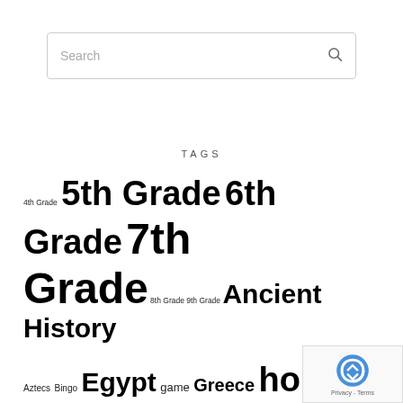[Figure (screenshot): Search box with placeholder text 'Search' and magnifying glass icon on the right]
TAGS
4th Grade 5th Grade 6th Grade 7th Grade 8th Grade 9th Grade Ancient History Aztecs Bingo Egypt game Greece homework Mesopotamia Native Americans Online Quiz Parts of Speech persuasive writing Prehistory reading